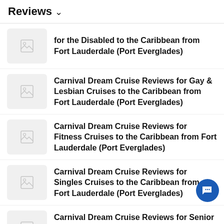Reviews ∨
for the Disabled to the Caribbean from Fort Lauderdale (Port Everglades)
Carnival Dream Cruise Reviews for Gay & Lesbian Cruises to the Caribbean from Fort Lauderdale (Port Everglades)
Carnival Dream Cruise Reviews for Fitness Cruises to the Caribbean from Fort Lauderdale (Port Everglades)
Carnival Dream Cruise Reviews for Singles Cruises to the Caribbean from Fort Lauderdale (Port Everglades)
Carnival Dream Cruise Reviews for Senior Cruises to the Caribbean from Fort Lauderdale (Port Everglades)